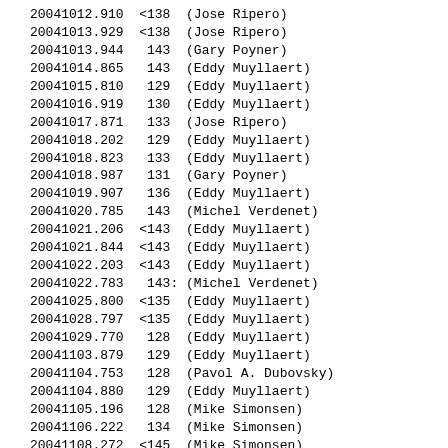20041012.910  <138  (Jose Ripero)
20041013.929  <138  (Jose Ripero)
20041013.944   143  (Gary Poyner)
20041014.865   143  (Eddy Muyllaert)
20041015.810   129  (Eddy Muyllaert)
20041016.919   130  (Eddy Muyllaert)
20041017.871   133  (Jose Ripero)
20041018.202   129  (Eddy Muyllaert)
20041018.823   133  (Eddy Muyllaert)
20041018.987   131  (Gary Poyner)
20041019.907   136  (Eddy Muyllaert)
20041020.785   143  (Michel Verdenet)
20041021.206  <143  (Eddy Muyllaert)
20041021.844  <143  (Eddy Muyllaert)
20041022.203  <143  (Eddy Muyllaert)
20041022.783   143: (Michel Verdenet)
20041025.800  <135  (Eddy Muyllaert)
20041028.797  <135  (Eddy Muyllaert)
20041029.770   128  (Eddy Muyllaert)
20041103.879   129  (Eddy Muyllaert)
20041104.753   128  (Pavol A. Dubovsky)
20041104.880   129  (Eddy Muyllaert)
20041105.196   128  (Mike Simonsen)
20041106.222   134  (Mike Simonsen)
20041108.272  <145  (Mike Simonsen)
20041108.973  <143  (Eddy Muyllaert)
20041109.217  <152  (Mike Simonsen)
20041109.378   142  (Dan Taylor)
20041110.210   148  (Mike Simonsen)
20041111.830  <143  (Eddy Muyllaert)